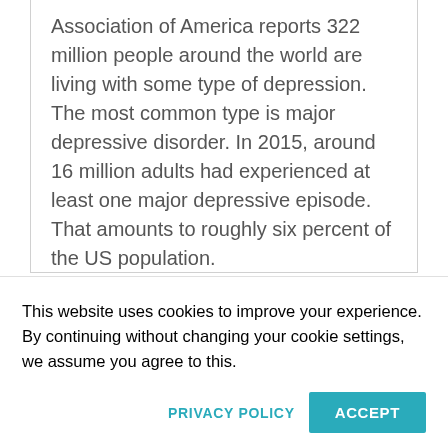Association of America reports 322 million people around the world are living with some type of depression. The most common type is major depressive disorder. In 2015, around 16 million adults had experienced at least one major depressive episode. That amounts to roughly six percent of the US population.
Technology companies seem to be taking those numbers to heart as they develop new devices to help treat depression....
This website uses cookies to improve your experience. By continuing without changing your cookie settings, we assume you agree to this.